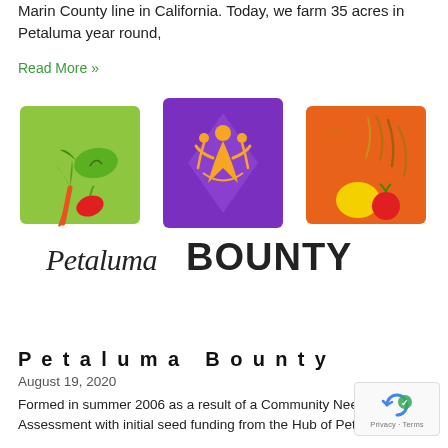Marin County line in California. Today, we farm 35 acres in Petaluma year round,
Read More »
[Figure (logo): Petaluma Bounty logo with three colored square panels (green with vegetables, purple diamond with stylized people figures, orange with fruits/vegetables) and the text 'Petaluma BOUNTY' below in stylized lettering]
Petaluma Bounty
August 19, 2020
Formed in summer 2006 as a result of a Community Needs Assessment with initial seed funding from the Hub of Petaluma